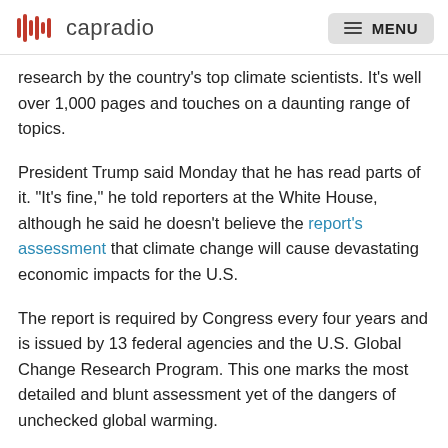capradio  MENU
research by the country's top climate scientists. It's well over 1,000 pages and touches on a daunting range of topics.
President Trump said Monday that he has read parts of it. "It's fine," he told reporters at the White House, although he said he doesn't believe the report's assessment that climate change will cause devastating economic impacts for the U.S.
The report is required by Congress every four years and is issued by 13 federal agencies and the U.S. Global Change Research Program. This one marks the most detailed and blunt assessment yet of the dangers of unchecked global warming.
"Climate change is happening here and now," co-author Katherine Hayhoe of Texas Tech University told Weekend